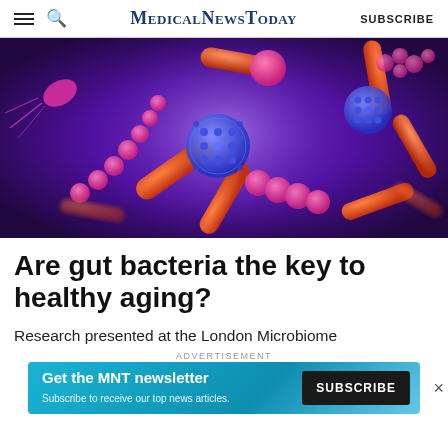Medical News Today | SUBSCRIBE
[Figure (illustration): 3D illustration of colorful gut bacteria/microbiome on a purple background — orange rod-shaped bacteria, pink spherical streptococcus chains, blue spiky virus particles, pink flagellated bacteria]
Are gut bacteria the key to healthy aging?
Research presented at the London Microbiome
ADVERTISEMENT
[Figure (infographic): MNT newsletter subscription banner: 'Get the MNT newsletter — Subscribe to receive our top news articles.' with a SUBSCRIBE button on dark background and teal gradient background]